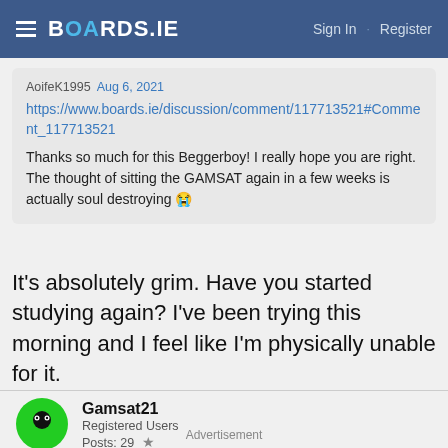BOARDS.IE  Sign In · Register
AoifeK1995  Aug 6, 2021
https://www.boards.ie/discussion/comment/117713521#Comment_117713521
Thanks so much for this Beggerboy! I really hope you are right. The thought of sitting the GAMSAT again in a few weeks is actually soul destroying 😭
It's absolutely grim. Have you started studying again? I've been trying this morning and I feel like I'm physically unable for it.
Gamsat21
Registered Users
Posts: 29 ★
Advertisement